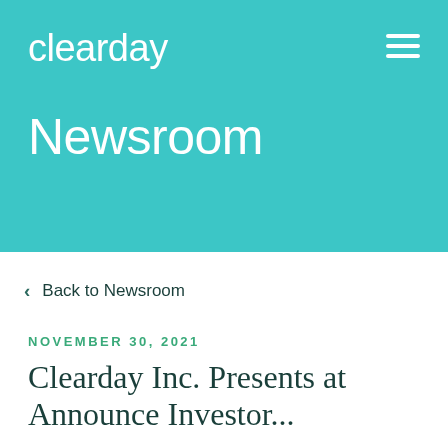clearday
Newsroom
< Back to Newsroom
NOVEMBER 30, 2021
Clearday Inc. Presents at Announce Investor...